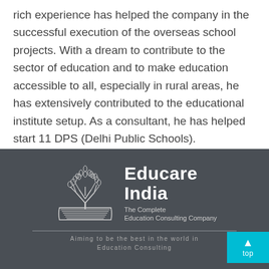rich experience has helped the company in the successful execution of the overseas school projects. With a dream to contribute to the sector of education and to make education accessible to all, especially in rural areas, he has extensively contributed to the educational institute setup. As a consultant, he has helped start 11 DPS (Delhi Public Schools).
[Figure (logo): Educare India logo: stylized tree/book illustration in white on dark grey background, with text 'Educare India - The Complete Education Consulting Company']
Aiming to be the best in the world in Education Consulting